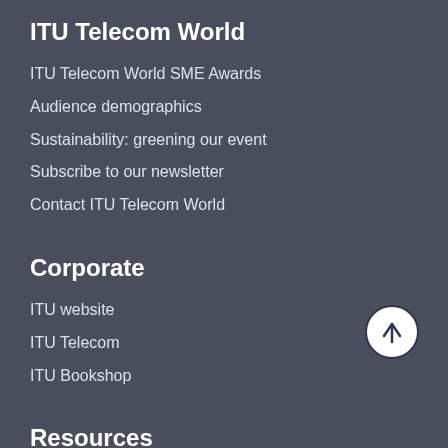ITU Telecom World
ITU Telecom World SME Awards
Audience demographics
Sustainability: greening our event
Subscribe to our newsletter
Contact ITU Telecom World
Corporate
ITU website
ITU Telecom
ITU Bookshop
Resources
2021 Ministerial Roundtables outcomes